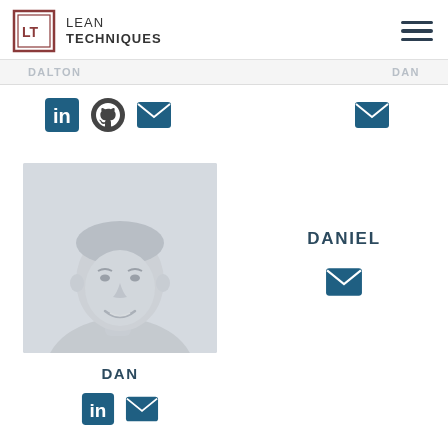LEAN TECHNIQUES
DALTON
DAN
[Figure (photo): Headshot photo of a young man smiling, rendered in grayscale/light tones]
DAN
DANIEL